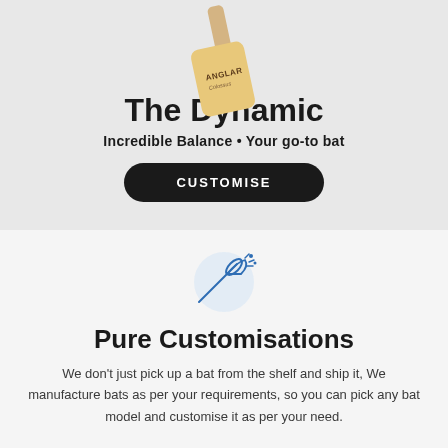[Figure (photo): A cricket bat with ANGLAR Colossus branding shown at an angle against a light grey background]
The Dynamic
Incredible Balance • Your go-to bat
CUSTOMISE
[Figure (illustration): Blue line illustration of a cricket bat with motion/impact lines]
Pure Customisations
We don't just pick up a bat from the shelf and ship it, We manufacture bats as per your requirements, so you can pick any bat model and customise it as per your need.